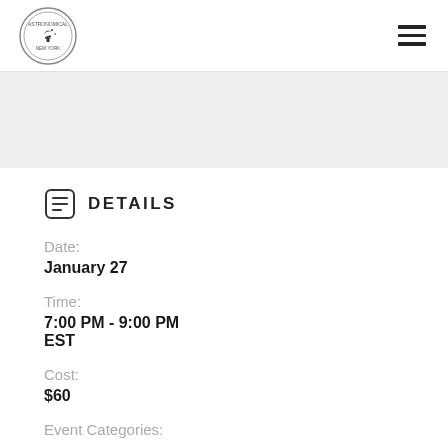Logo and navigation menu
DETAILS
Date:
January 27
Time:
7:00 PM - 9:00 PM
EST
Cost:
$60
Event Categories: